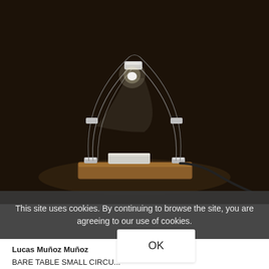[Figure (photo): A table lamp with an arched wire frame forming an oval shape, held together with small white connectors, sitting on a wooden block base. A small LED bulb glows at the top. A dark cable extends to the right. Dark background.]
This site uses cookies. By continuing to browse the site, you are agreeing to our use of cookies.
Lucas Muñoz Muñoz
BARE TABLE SMALL CIRCU...
Table lamp
OK